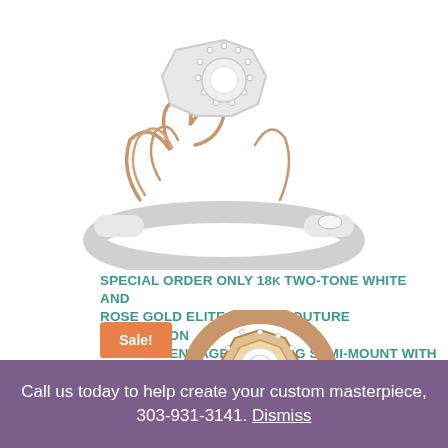[Figure (photo): Close-up of an 18k two-tone white and rose gold diamond engagement ring semi-mount with octagon halo, showing rose gold floral filigree details and white gold band with pavé diamonds]
SPECIAL ORDER ONLY 18k two-tone white and rose gold Elite Color Couture Collection diamond engagement ring semi-mount with octagon halo , ring size 6
$2,370.00  $1,580.00
[Figure (photo): Gold diamond engagement ring with octagon halo and pavé setting, shown from above at an angle, with Sale! badge overlay]
Call us today to help create your custom masterpiece, 303-931-3141. Dismiss